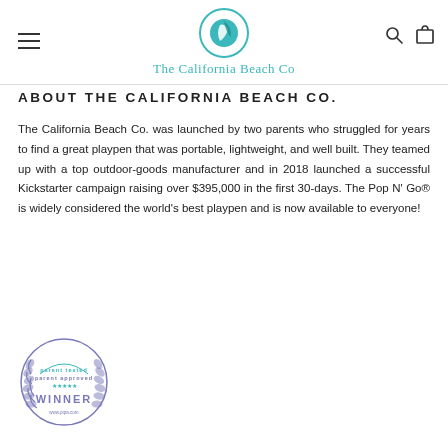The California Beach Co.
ABOUT THE CALIFORNIA BEACH CO.
The California Beach Co. was launched by two parents who struggled for years to find a great playpen that was portable, lightweight, and well built. They teamed up with a top outdoor-goods manufacturer and in 2018 launched a successful Kickstarter campaign raising over $395,000 in the first 30-days. The Pop N' Go® is widely considered the world's best playpen and is now available to everyone!
[Figure (logo): Parent tested parent approved Winner badge — circular badge with laurel wreath, teal/purple coloring, text 'parent tested parent approved WINNER www.ptpa.com']